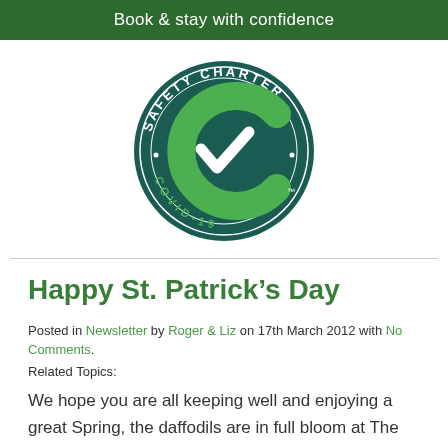Book & stay with confidence
[Figure (logo): Safety Charter COVID-19 logo: dark teal circular badge with 'SAFETY CHARTER' text arching across the top, a large green letter C with a white checkmark inside, and 'COVID-19' text along the bottom arc, with a TM mark.]
Happy St. Patrick’s Day
Posted in Newsletter by Roger & Liz on 17th March 2012 with No Comments.
Related Topics:
We hope you are all keeping well and enjoying a great Spring, the daffodils are in full bloom at The Cottages